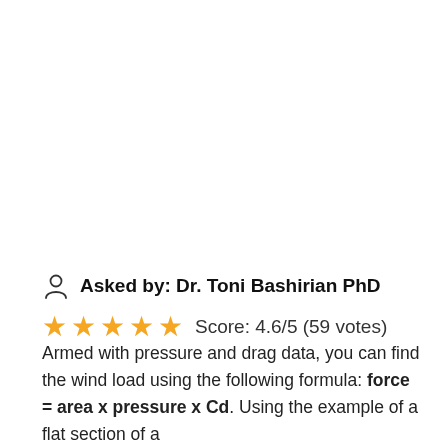Asked by: Dr. Toni Bashirian PhD
Score: 4.6/5 (59 votes)
Armed with pressure and drag data, you can find the wind load using the following formula: force = area x pressure x Cd. Using the example of a flat section of a